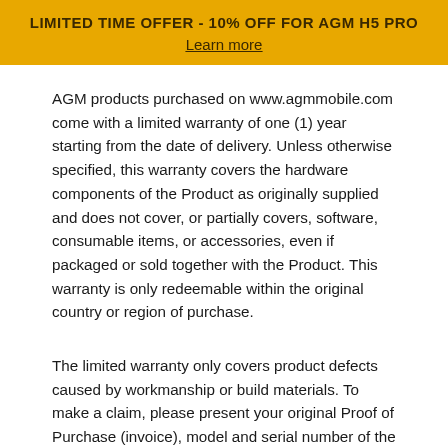LIMITED TIME OFFER - 10% OFF FOR AGM H5 PRO
Learn more
AGM products purchased on www.agmmobile.com come with a limited warranty of one (1) year starting from the date of delivery. Unless otherwise specified, this warranty covers the hardware components of the Product as originally supplied and does not cover, or partially covers, software, consumable items, or accessories, even if packaged or sold together with the Product. This warranty is only redeemable within the original country or region of purchase.
The limited warranty only covers product defects caused by workmanship or build materials. To make a claim, please present your original Proof of Purchase (invoice), model and serial number of the Product, and photo evidence of the